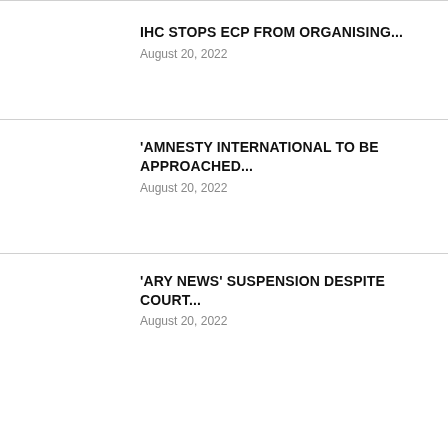IHC STOPS ECP FROM ORGANISING...
August 20, 2022
'AMNESTY INTERNATIONAL TO BE APPROACHED...
August 20, 2022
'ARY NEWS' SUSPENSION DESPITE COURT...
August 20, 2022